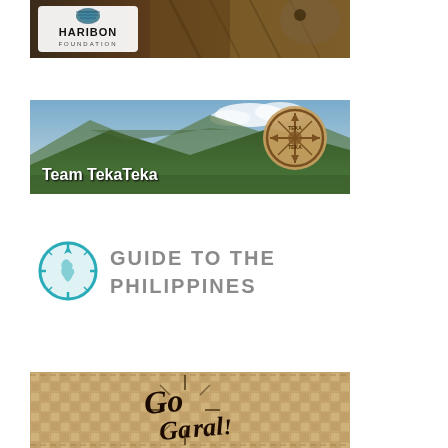[Figure (photo): Haribon Foundation banner with eagle image and Haribon Foundation logo on left]
[Figure (photo): Team TekaTeka banner showing mountain landscape with Team TekaTeka text and circular logo]
[Figure (logo): Guide to the Philippines logo with teal compass circle and gray text]
[Figure (photo): Go Garal banner with tan/beige geometric pattern background and stylized Go Garal text]